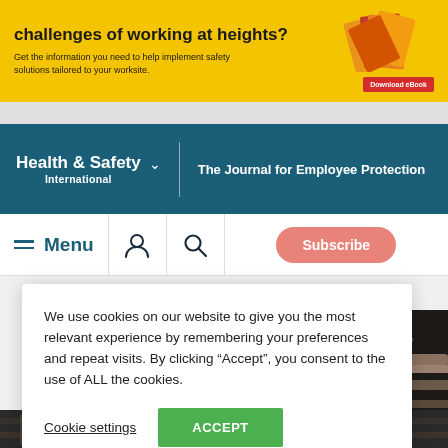[Figure (illustration): Yellow advertisement banner asking about challenges of working at heights with a Download eBook button]
Health & Safety International — The Journal for Employee Protection
Menu
We use cookies on our website to give you the most relevant experience by remembering your preferences and repeat visits. By clicking “Accept”, you consent to the use of ALL the cookies.
Cookie settings   ACCEPT
[Figure (photo): Industrial pipes and machinery in dark setting]